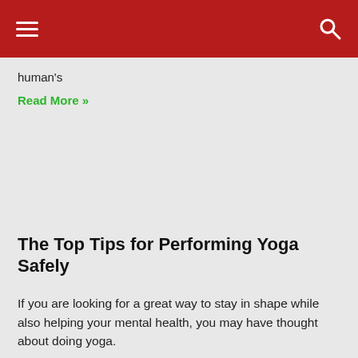Navigation bar with hamburger menu and search icon
human's
Read More »
The Top Tips for Performing Yoga Safely
If you are looking for a great way to stay in shape while also helping your mental health, you may have thought about doing yoga.